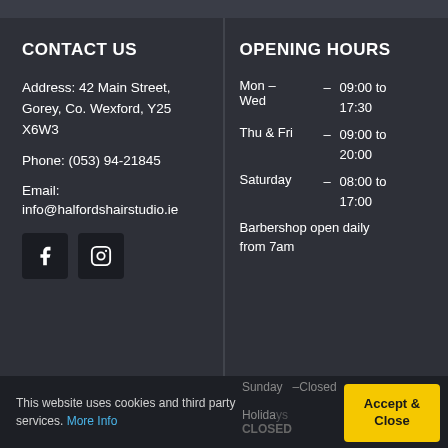CONTACT US
Address: 42 Main Street, Gorey, Co. Wexford, Y25 X6W3
Phone: (053) 94-21845
Email:
info@halfordshairstudio.ie
[Figure (illustration): Facebook and Instagram social media icons]
OPENING HOURS
Mon – Wed  –  09:00 to 17:30
Thu & Fri  –  09:00 to 20:00
Saturday  –  08:00 to 17:00
Barbershop open daily from 7am
Sunday  – Closed
Holidays CLOSED
This website uses cookies and third party services. More Info
Accept & Close